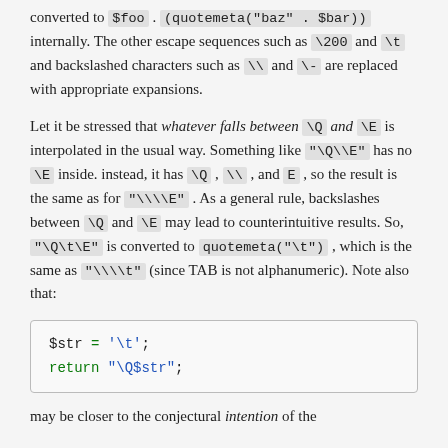converted to $foo . (quotemeta("baz" . $bar)) internally. The other escape sequences such as \200 and \t and backslashed characters such as \\ and \- are replaced with appropriate expansions.
Let it be stressed that whatever falls between \Q and \E is interpolated in the usual way. Something like "\Q\\E" has no \E inside. instead, it has \Q , \\ , and E , so the result is the same as for "\\\\E" . As a general rule, backslashes between \Q and \E may lead to counterintuitive results. So, "\Q\t\E" is converted to quotemeta("\t") , which is the same as "\\\\t" (since TAB is not alphanumeric). Note also that:
[Figure (other): Code block showing: $str = '\t'; return "\Q$str";]
may be closer to the conjectural intention of the